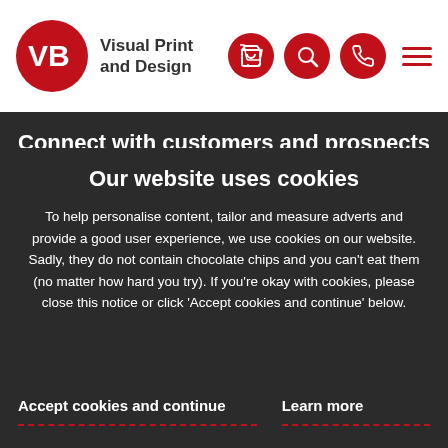[Figure (logo): Visual Print and Design logo with red circle containing VB monogram and navigation icons (cart, search, phone, hamburger menu)]
Connect with customers and prospects using the power of print. Browse our
Our website uses cookies
To help personalise content, tailor and measure adverts and provide a good user experience, we use cookies on our website. Sadly, they do not contain chocolate chips and you can't eat them (no matter how hard you try). If you're okay with cookies, please close this notice or click 'Accept cookies and continue' below.
Accept cookies and continue
Learn more